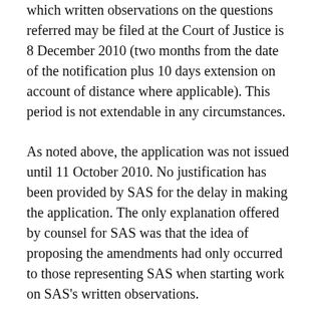which written observations on the questions referred may be filed at the Court of Justice is 8 December 2010 (two months from the date of the notification plus 10 days extension on account of distance where applicable). This period is not extendable in any circumstances.
As noted above, the application was not issued until 11 October 2010. No justification has been provided by SAS for the delay in making the application. The only explanation offered by counsel for SAS was that the idea of proposing the amendments had only occurred to those representing SAS when starting work on SAS's written observations.